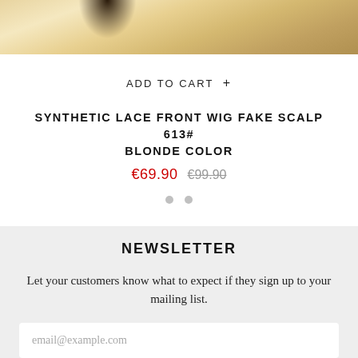[Figure (photo): Partial product photo showing blonde hair wig, cropped at top]
ADD TO CART +
SYNTHETIC LACE FRONT WIG FAKE SCALP 613# BLONDE COLOR
€69.90  €99.90
NEWSLETTER
Let your customers know what to expect if they sign up to your mailing list.
email@example.com